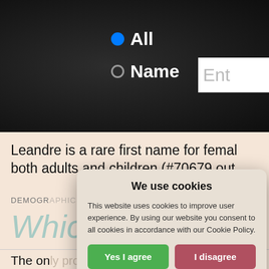All  Name  [search input]
Leandre is a rare first name for females both adults and children (#70679 out
DEMOGRAPHICS)
Which [completion not visible] / 7
The only prominent related form of Le Top 2000 is Leandra. Adoption of this the year 1990 (ADOPTION OF 0.01%) but n
We use cookies

This website uses cookies to improve user experience. By using our website you consent to all cookies in accordance with our Cookie Policy.

Yes I agree    I disagree

Read more

Free cookie consent by cookie-script.com